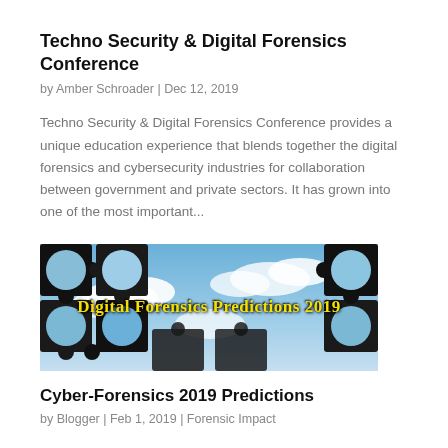Techno Security & Digital Forensics Conference
by Amber Schroader | Dec 12, 2019
Techno Security & Digital Forensics Conference provides a unique education experience that blends together the digital forensics and cybersecurity industries for collaboration between government and private sectors. It has grown into one of the most important...
[Figure (photo): Banner image with puzzle pieces against a sky background with text 'Digital Forensics Predictions 2019' in yellow font]
Cyber-Forensics 2019 Predictions
by Blogger | Feb 1, 2019 | Forensic Impact